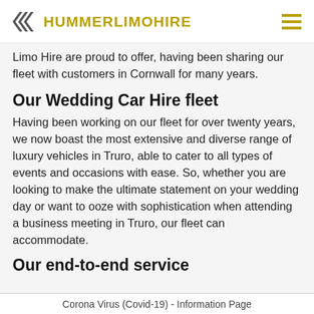HUMMER LIMO HIRE
Limo Hire are proud to offer, having been sharing our fleet with customers in Cornwall for many years.
Our Wedding Car Hire fleet
Having been working on our fleet for over twenty years, we now boast the most extensive and diverse range of luxury vehicles in Truro, able to cater to all types of events and occasions with ease. So, whether you are looking to make the ultimate statement on your wedding day or want to ooze with sophistication when attending a business meeting in Truro, our fleet can accommodate.
Our end-to-end service
Corona Virus (Covid-19) - Information Page